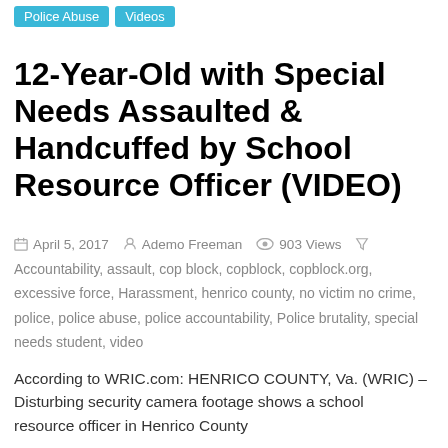Police Abuse   Videos
12-Year-Old with Special Needs Assaulted & Handcuffed by School Resource Officer (VIDEO)
April 5, 2017   Ademo Freeman   903 Views
Accountability, assault, cop block, copblock, copblock.org, excessive force, Harassment, henrico county, no victim no crime, police, police abuse, police accountability, Police brutality, special needs student, video
According to WRIC.com: HENRICO COUNTY, Va. (WRIC) – Disturbing security camera footage shows a school resource officer in Henrico County
Read more